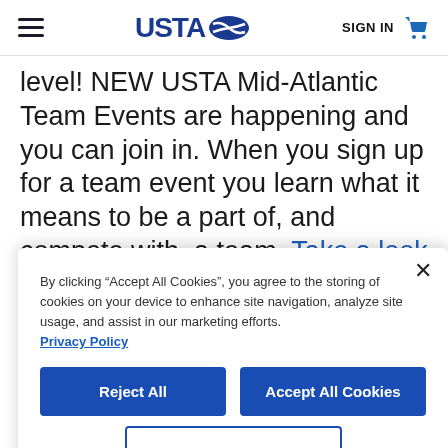USTA [logo] | SIGN IN | [cart icon]
level! NEW USTA Mid-Atlantic Team Events are happening and you can join in. When you sign up for a team event you learn what it means to be a part of, and compete with, a team. Take a look at what parents and players have to say about May's team events! Spoiler alert - they had a BLAST!
By clicking “Accept All Cookies”, you agree to the storing of cookies on your device to enhance site navigation, analyze site usage, and assist in our marketing efforts.
Privacy Policy
Reject All
Accept All Cookies